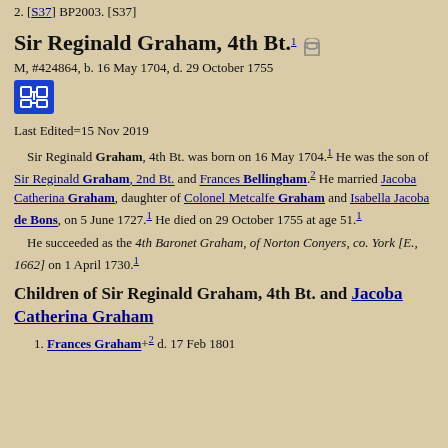2. [S37] BP2003. [S37]
Sir Reginald Graham, 4th Bt.1
M, #424864, b. 16 May 1704, d. 29 October 1755
Last Edited=15 Nov 2019
Sir Reginald Graham, 4th Bt. was born on 16 May 1704.1 He was the son of Sir Reginald Graham, 2nd Bt. and Frances Bellingham.2 He married Jacoba Catherina Graham, daughter of Colonel Metcalfe Graham and Isabella Jacoba de Bons, on 5 June 1727.1 He died on 29 October 1755 at age 51.1
He succeeded as the 4th Baronet Graham, of Norton Conyers, co. York [E., 1662] on 1 April 1730.1
Children of Sir Reginald Graham, 4th Bt. and Jacoba Catherina Graham
1. Frances Graham +2 d. 17 Feb 1801